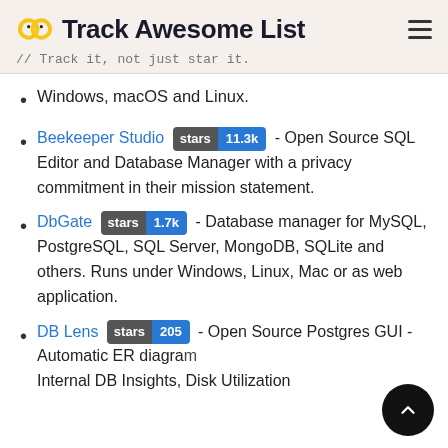Track Awesome List // Track it, not just star it.
Windows, macOS and Linux.
Beekeeper Studio [stars 11.3k] - Open Source SQL Editor and Database Manager with a privacy commitment in their mission statement.
DbGate [stars 1.7k] - Database manager for MySQL, PostgreSQL, SQL Server, MongoDB, SQLite and others. Runs under Windows, Linux, Mac or as web application.
DB Lens [stars 205] - Open Source Postgres GUI - Automatic ER diagram Internal DB Insights, Disk Utilization